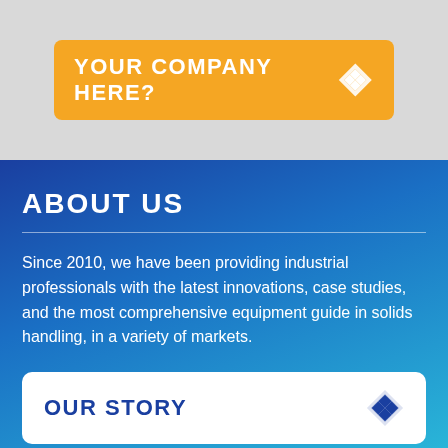[Figure (other): Orange button with text YOUR COMPANY HERE? and a diamond/cross icon on the right, on a light gray background]
ABOUT US
Since 2010, we have been providing industrial professionals with the latest innovations, case studies, and the most comprehensive equipment guide in solids handling, in a variety of markets.
[Figure (other): White button with text OUR STORY and a dark blue diamond/cross icon on the right]